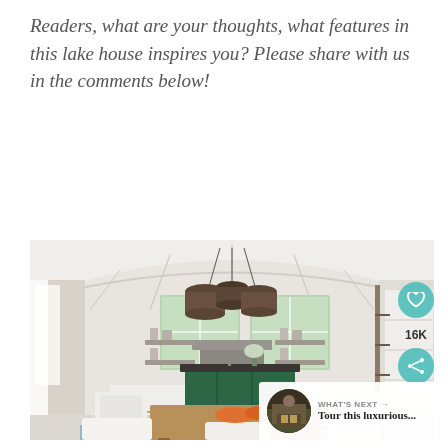Readers, what are your thoughts, what features in this lake house inspires you? Please share with us in the comments below!
[Figure (photo): Interior photo of a bright white farmhouse-style kitchen with vaulted ceiling, exposed beams, industrial pendant lights, green kitchen island, wooden dining table with white slipcovered chairs, blue rug, and a 'What's Next' overlay panel with heart (16K likes) and share buttons.]